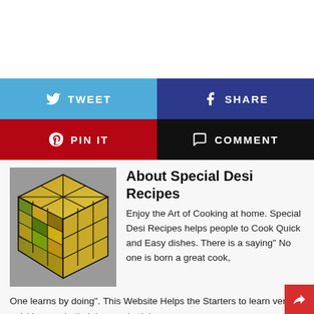[Figure (infographic): Social sharing buttons: Tweet (blue), Share (dark blue), Pin It (red), Comment (black)]
[Figure (photo): A Rubik's cube decorated with food/vegetable images on each tile, set against a grey background]
About Special Desi Recipes
Enjoy the Art of Cooking at home. Special Desi Recipes helps people to Cook Quick and Easy dishes. There is a saying” No one is born a great cook, One learns by doing”. This Website Helps the Starters to learn very quickly even in their busy schedule.
[Figure (infographic): Row of social media icons: YouTube, Facebook, Twitter, Google+, Instagram, Pinterest, LinkedIn]